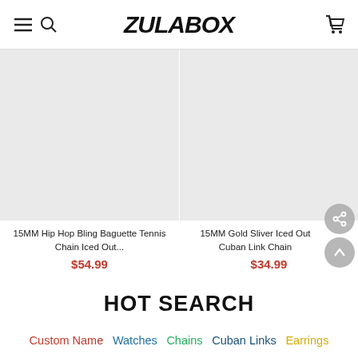ZULABOX — navigation header with menu, search, logo, cart
[Figure (photo): Product image placeholder (light grey rectangle) for 15MM Hip Hop Bling Baguette Tennis Chain Iced Out]
15MM Hip Hop Bling Baguette Tennis Chain Iced Out...
$54.99
[Figure (photo): Product image placeholder (light grey rectangle) for 15MM Gold Sliver Iced Out Cuban Link Chain]
15MM Gold Sliver Iced Out Cuban Link Chain
$34.99
HOT SEARCH
Custom Name  Watches  Chains  Cuban Links  Earrings